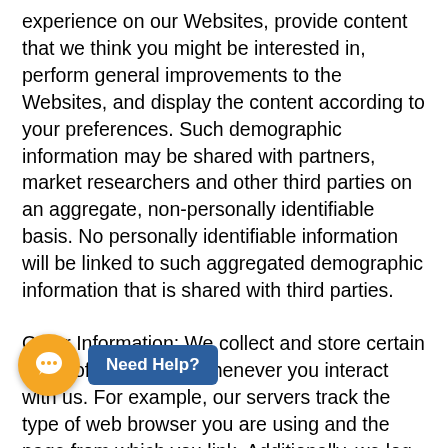experience on our Websites, provide content that we think you might be interested in, perform general improvements to the Websites, and display the content according to your preferences. Such demographic information may be shared with partners, market researchers and other third parties on an aggregate, non-personally identifiable basis. No personally identifiable information will be linked to such aggregated demographic information that is shared with third parties.
Other Information: We collect and store certain types of information whenever you interact with us. For example, our servers track the type of web browser you are using and the page from which you link. Additionally, we log IP addresses (a unique number assigned to every computer on the Internet) in order to improve security, analyse trends and administer the site. We may track your movement within the Websites, the third-party website pages from which you were referred, access times and browser types.
[Figure (other): Chat support widget with orange circle icon containing speech bubble, and blue 'Need Help?' button label]